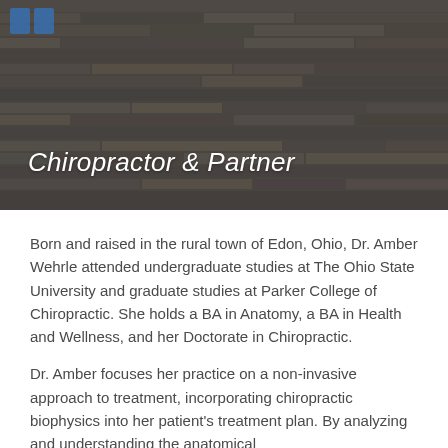[Figure (photo): Hero background image of a stone/slate wall with dark overlay and logo in top-left corner]
Chiropractor & Partner
Born and raised in the rural town of Edon, Ohio, Dr. Amber Wehrle attended undergraduate studies at The Ohio State University and graduate studies at Parker College of Chiropractic. She holds a BA in Anatomy, a BA in Health and Wellness, and her Doctorate in Chiropractic.
Dr. Amber focuses her practice on a non-invasive approach to treatment, incorporating chiropractic biophysics into her patient's treatment plan. By analyzing and understanding the anatomical